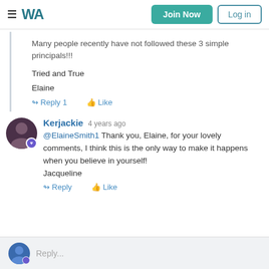WA | Join Now | Log in
Many people recently have not followed these 3 simple principals!!!
Tried and True

Elaine
Reply 1   Like
Kerjackie  4 years ago
@ElaineSmith1 Thank you, Elaine, for your lovely comments, I think this is the only way to make it happens when you believe in yourself!
Jacqueline
Reply   Like
Reply...